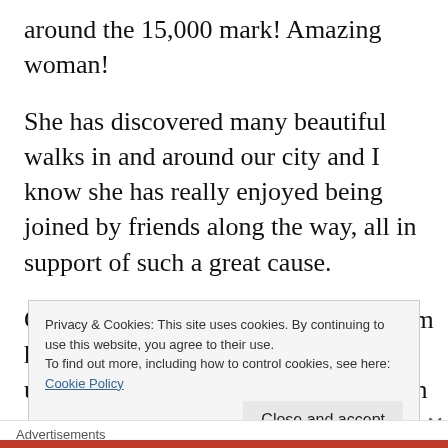around the 15,000 mark! Amazing woman!
She has discovered many beautiful walks in and around our city and I know she has really enjoyed being joined by friends along the way, all in support of such a great cause.
Cancer affects so many of us. My mum has had breast cancer twice, my unbelievably awesome friend beat it in a mindblowingly
Privacy & Cookies: This site uses cookies. By continuing to use this website, you agree to their use.
To find out more, including how to control cookies, see here:
Cookie Policy
Close and accept
Advertisements